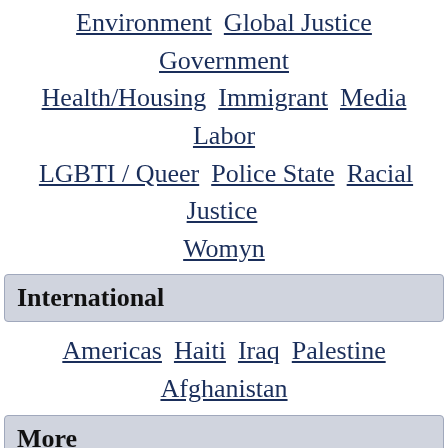Environment  Global Justice  Government
Health/Housing  Immigrant  Media  Labor
LGBTI / Queer  Police State  Racial Justice
Womyn
International
Americas  Haiti  Iraq  Palestine
Afghanistan
More
FAQ  Make Media  Get Involved
Photo Gallery  Feature Archives
Fault Lines  Links